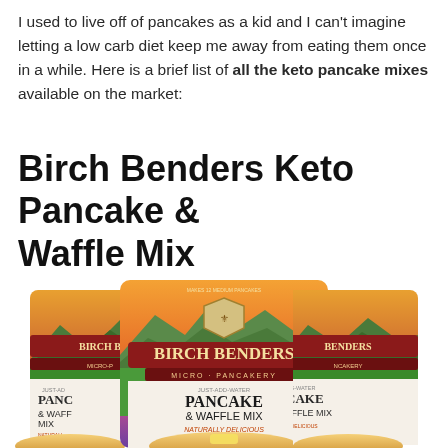I used to live off of pancakes as a kid and I can't imagine letting a low carb diet keep me away from eating them once in a while. Here is a brief list of all the keto pancake mixes available on the market:
Birch Benders Keto Pancake & Waffle Mix
[Figure (photo): Three packages of Birch Benders Micro-Pancakery Pancake & Waffle Mix shown side by side, featuring mountain landscape artwork with runners, a stack of pancakes, and the text 'Just-Add-Water', 'Naturally Delicious'. The center package is most prominent.]